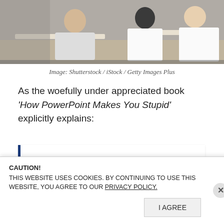[Figure (photo): People sitting at tables in a meeting or classroom setting, viewed from behind, with a whiteboard/wall visible]
Image: Shutterstock / iStock / Getty Images Plus
As the woefully under appreciated book ‘How PowerPoint Makes You Stupid’ explicitly explains:
“PowerPoint’s celebrated ease and efficiency actually mask a profoundly disturbing but little-understood
CAUTION!
THIS WEBSITE USES COOKIES. BY CONTINUING TO USE THIS WEBSITE, YOU AGREE TO OUR PRIVACY POLICY.
I AGREE